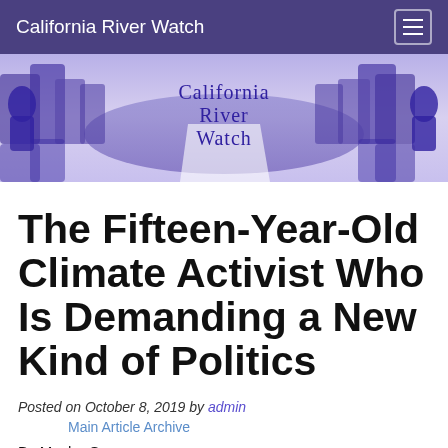California River Watch
[Figure (illustration): California River Watch banner image with a mirrored blue-tinted river landscape and trees, with 'California River Watch' text overlay in the center]
The Fifteen-Year-Old Climate Activist Who Is Demanding a New Kind of Politics
Posted on October 8, 2019 by admin
Main Article Archive
By Masha Gessen